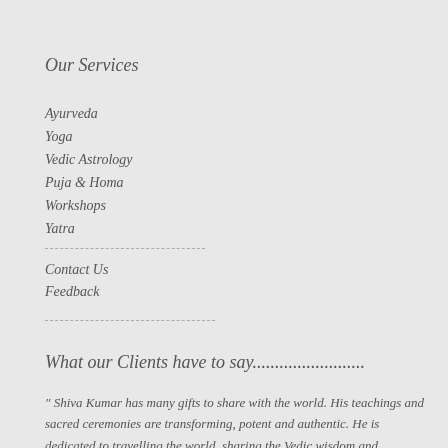Our Services
Ayurveda
Yoga
Vedic Astrology
Puja & Homa
Workshops
Yatra
Contact Us
Feedback
What our Clients have to say.........................
" Shiva Kumar has many gifts to share with the world. His teachings and sacred ceremonies are transforming, potent and authentic. He is dedicated to travelling the world, sharing the Vedic wisdom and